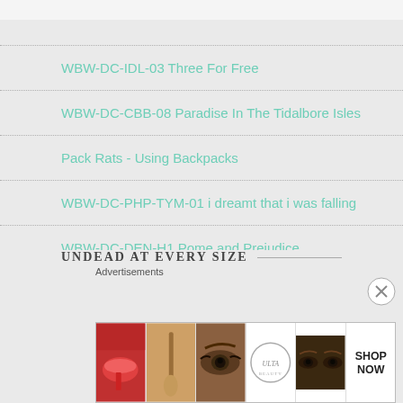WBW-DC-IDL-03 Three For Free
WBW-DC-CBB-08 Paradise In The Tidalbore Isles
Pack Rats - Using Backpacks
WBW-DC-PHP-TYM-01 i dreamt that i was falling
WBW-DC-DEN-H1 Pome and Prejudice
UNDEAD AT EVERY SIZE
Advertisements
[Figure (photo): Beauty advertisement banner showing lips with lipstick, makeup brush, eye with mascara, Ulta Beauty logo, eyes with makeup, and SHOP NOW text]